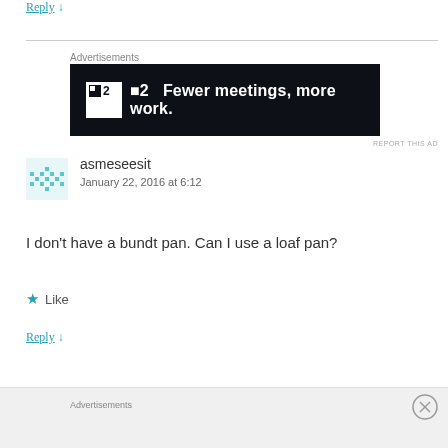Reply ↓
[Figure (infographic): Advertisement banner: dark navy background with white square logo showing '■2' and text 'Fewer meetings, more work.']
asmeseesit
January 22, 2016 at 6:12
I don't have a bundt pan. Can I use a loaf pan?
Like
Reply ↓
Advertisements